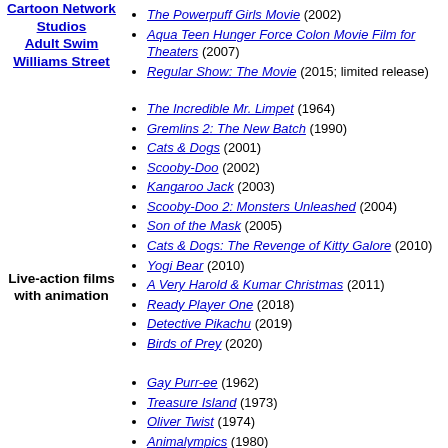The Powerpuff Girls Movie (2002)
Aqua Teen Hunger Force Colon Movie Film for Theaters (2007)
Regular Show: The Movie (2015; limited release)
Cartoon Network Studios Adult Swim Williams Street
The Incredible Mr. Limpet (1964)
Gremlins 2: The New Batch (1990)
Cats & Dogs (2001)
Scooby-Doo (2002)
Kangaroo Jack (2003)
Scooby-Doo 2: Monsters Unleashed (2004)
Son of the Mask (2005)
Cats & Dogs: The Revenge of Kitty Galore (2010)
Yogi Bear (2010)
A Very Harold & Kumar Christmas (2011)
Ready Player One (2018)
Detective Pikachu (2019)
Birds of Prey (2020)
Live-action films with animation
Gay Purr-ee (1962)
Treasure Island (1973)
Oliver Twist (1974)
Animalympics (1980)